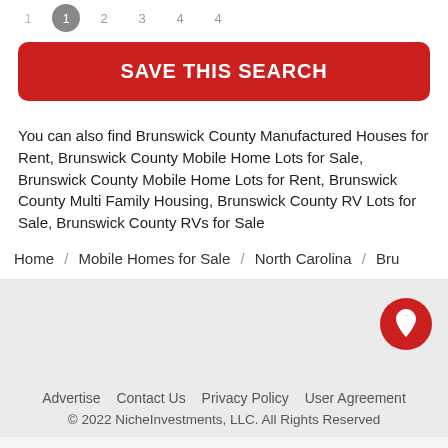1  2  3  4  4
SAVE THIS SEARCH
You can also find Brunswick County Manufactured Houses for Rent, Brunswick County Mobile Home Lots for Sale, Brunswick County Mobile Home Lots for Rent, Brunswick County Multi Family Housing, Brunswick County RV Lots for Sale, Brunswick County RVs for Sale
Home / Mobile Homes for Sale / North Carolina / Bru
[Figure (other): Red circular map pin icon on gray background]
Advertise  Contact Us  Privacy Policy  User Agreement
© 2022 NicheInvestments, LLC. All Rights Reserved